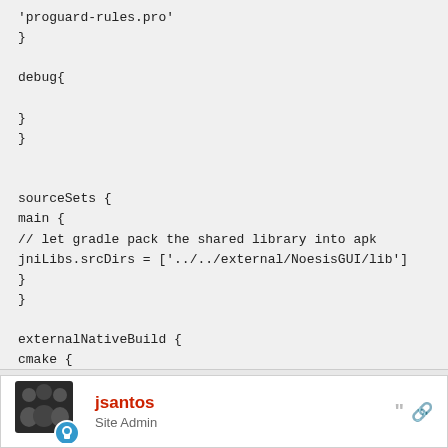'proguard-rules.pro'
}

debug{

}
}


sourceSets {
main {
// let gradle pack the shared library into apk
jniLibs.srcDirs = ['../../external/NoesisGUI/lib']
}
}

externalNativeBuild {
cmake {
path "CMakeLists.txt"
}
}
}
[Figure (illustration): User avatar showing group of people silhouettes in dark color with a blue circular badge in lower right]
jsantos
Site Admin